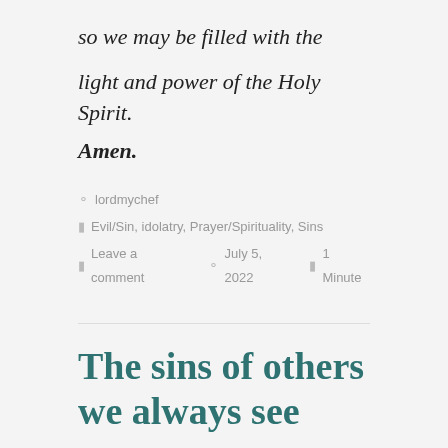so we may be filled with the light and power of the Holy Spirit.
Amen.
lordmychef
Evil/Sin, idolatry, Prayer/Spirituality, Sins
Leave a comment   July 5, 2022   1 Minute
The sins of others we always see
The Lord Is My Chef Daily Recipe for the Soul by Fr. Nicanor F. Lalog II
Monday in the Twelfth Week of Ordinary Time, 20